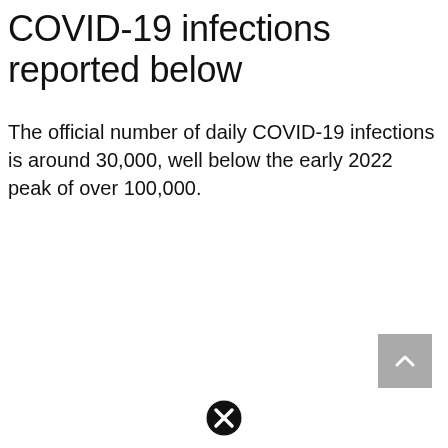COVID-19 infections reported below
The official number of daily COVID-19 infections is around 30,000, well below the early 2022 peak of over 100,000.